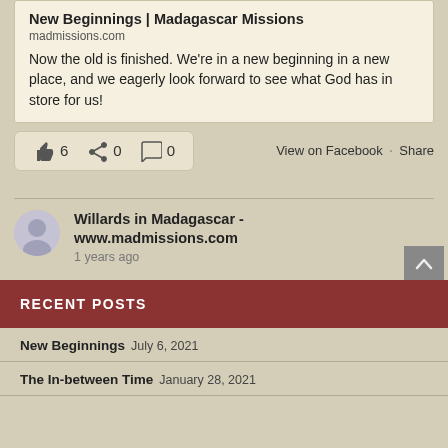New Beginnings | Madagascar Missions
madmissions.com
Now the old is finished. We're in a new beginning in a new place, and we eagerly look forward to see what God has in store for us!
6  0  0
View on Facebook · Share
Willards in Madagascar - www.madmissions.com
1 years ago
RECENT POSTS
New Beginnings July 6, 2021
The In-between Time January 28, 2021